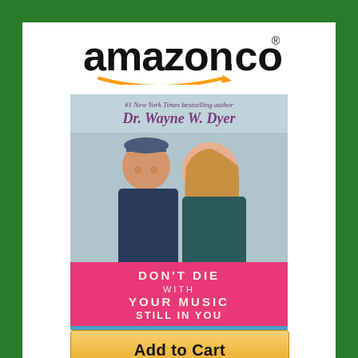[Figure (logo): amazon.com logo in black text with orange arrow swoosh underneath]
[Figure (photo): Book cover: 'Don't Die With Your Music Still In You' by Dr. Wayne W. Dyer. Two people on cover (older man with beret and younger woman with long hair). Pink background with gold/white title text. Author name at top. Blue stripe at bottom.]
[Figure (other): Yellow/gold 'Add to Cart' button below the book cover]
[Figure (photo): Partial image at bottom left showing a person doing yoga or stretching outdoors with a red swirl logo]
[Figure (logo): TrustedSite CERTIFIED SECURE badge with green checkmark at bottom right]